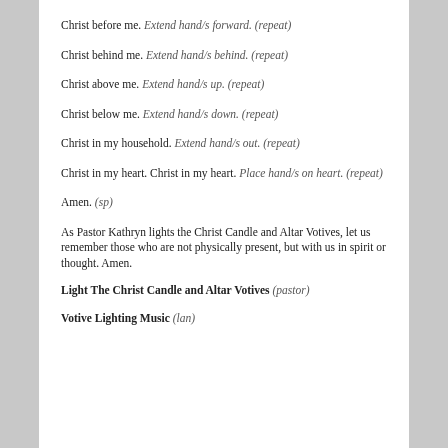Christ before me. Extend hand/s forward. (repeat)
Christ behind me. Extend hand/s behind. (repeat)
Christ above me. Extend hand/s up. (repeat)
Christ below me. Extend hand/s down. (repeat)
Christ in my household. Extend hand/s out. (repeat)
Christ in my heart. Christ in my heart. Place hand/s on heart. (repeat)
Amen. (sp)
As Pastor Kathryn lights the Christ Candle and Altar Votives, let us remember those who are not physically present, but with us in spirit or thought. Amen.
Light The Christ Candle and Altar Votives (pastor)
Votive Lighting Music (lan)